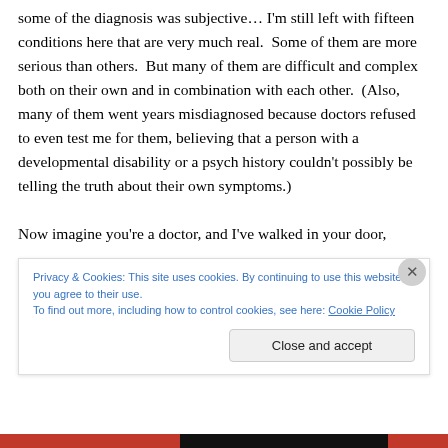some of the diagnosis was subjective… I'm still left with fifteen conditions here that are very much real.  Some of them are more serious than others.  But many of them are difficult and complex both on their own and in combination with each other.  (Also, many of them went years misdiagnosed because doctors refused to even test me for them, believing that a person with a developmental disability or a psych history couldn't possibly be telling the truth about their own symptoms.)
Now imagine you're a doctor, and I've walked in your door,
Privacy & Cookies: This site uses cookies. By continuing to use this website, you agree to their use.
To find out more, including how to control cookies, see here: Cookie Policy